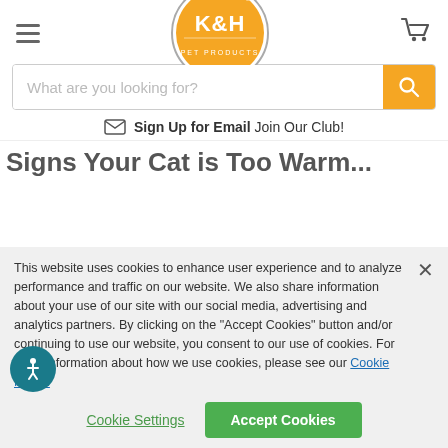[Figure (logo): K&H Pet Products logo — orange circle with white K&H text and grey border ring with PET PRODUCTS text]
[Figure (illustration): Hamburger menu icon (three horizontal lines) on the left; shopping cart icon on the right]
What are you looking for?
Sign Up for Email Join Our Club!
Signs Your Cat is Too Warm...
This website uses cookies to enhance user experience and to analyze performance and traffic on our website. We also share information about your use of our site with our social media, advertising and analytics partners. By clicking on the "Accept Cookies" button and/or continuing to use our website, you consent to our use of cookies. For more information about how we use cookies, please see our Cookie Policy.
Cookie Settings
Accept Cookies